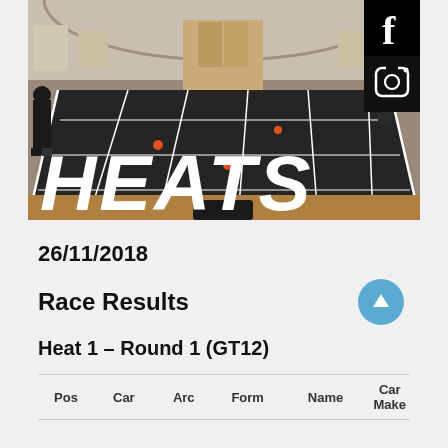[Figure (photo): Indoor slot car racing track in a hall with wooden ceiling and floor, with 'HEATS' text overlay and social media icons (Facebook, Instagram) in top right corner]
26/11/2018
Race Results
Heat 1 – Round 1 (GT12)
| Pos | Car | Arc | Form | Name | Car Make |
| --- | --- | --- | --- | --- | --- |